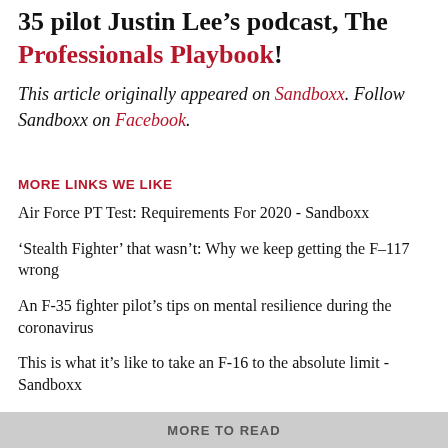35 pilot Justin Lee’s podcast, The Professionals Playbook!
This article originally appeared on Sandboxx. Follow Sandboxx on Facebook.
MORE LINKS WE LIKE
Air Force PT Test: Requirements For 2020 - Sandboxx
‘Stealth Fighter’ that wasn’t: Why we keep getting the F–117 wrong
An F-35 fighter pilot’s tips on mental resilience during the coronavirus
This is what it’s like to take an F-16 to the absolute limit - Sandboxx
Cutting edge Navy tech could fake fighters, UFOs using lasers …
MORE TO READ